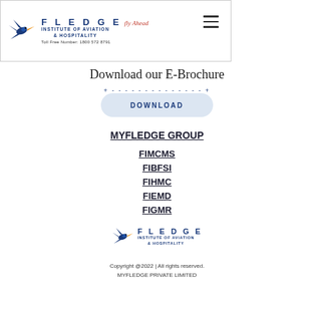[Figure (logo): Fledge Institute of Aviation & Hospitality logo with bird, text and toll free number in header bar]
Download our E-Brochure
DOWNLOAD
MYFLEDGE GROUP
FIMCMS
FIBFSI
FIHMC
FIEMD
FIGMR
[Figure (logo): Fledge Institute of Aviation & Hospitality footer logo with bird]
Copyright @2022 | All rights reserved. MYFLEDGE PRIVATE LIMITED